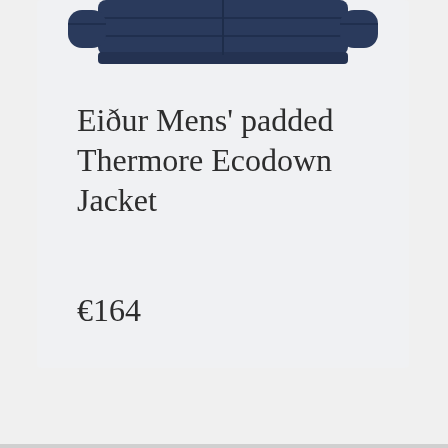[Figure (photo): Top portion of a navy blue padded jacket product image, cropped at the top of the page]
Eiður Mens' padded Thermore Ecodown Jacket
€164